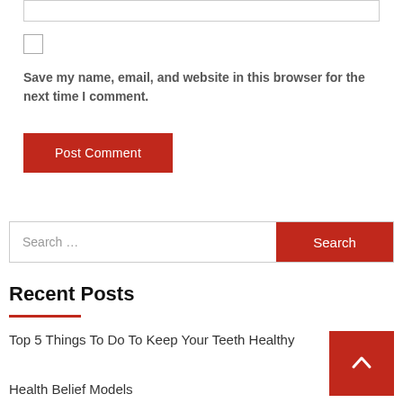[Figure (screenshot): Input text field (top of form)]
[Figure (screenshot): Checkbox for saving name, email, and website]
Save my name, email, and website in this browser for the next time I comment.
[Figure (screenshot): Red Post Comment button]
[Figure (screenshot): Search bar with red Search button]
Recent Posts
Top 5 Things To Do To Keep Your Teeth Healthy
Health Belief Models